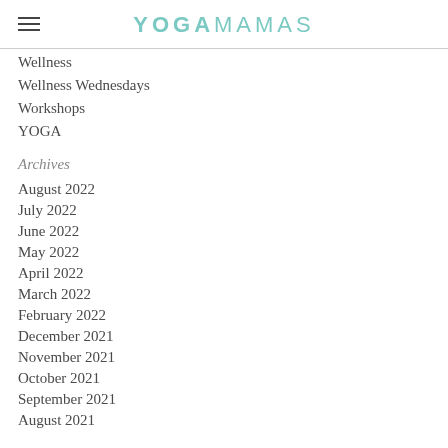YOGAMAMAS
Wellness
Wellness Wednesdays
Workshops
YOGA
Archives
August 2022
July 2022
June 2022
May 2022
April 2022
March 2022
February 2022
December 2021
November 2021
October 2021
September 2021
August 2021